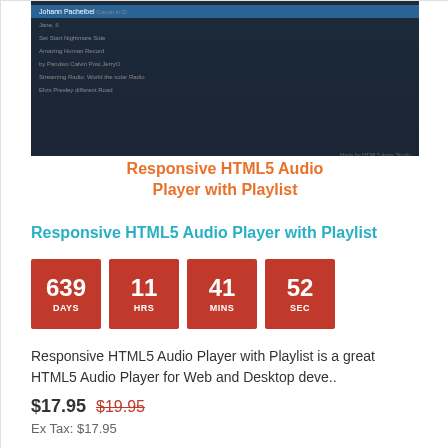[Figure (screenshot): Screenshot of an HTML5 audio player with playlist interface showing dark themed UI with song list items including Johann Pachelbel Canon, Set Start, Amazing Human Record, by Pandwo, Streaming Radio, Elvis Presley entries]
Responsive HTML5 Audio Player with Playlist
Responsive HTML5 Audio Player with Playlist
639 DAYS   11 HRS   41 MINS   52 SEC
Responsive HTML5 Audio Player with Playlist is a great HTML5 Audio Player for Web and Desktop deve..
$17.95   $19.95
Ex Tax: $17.95